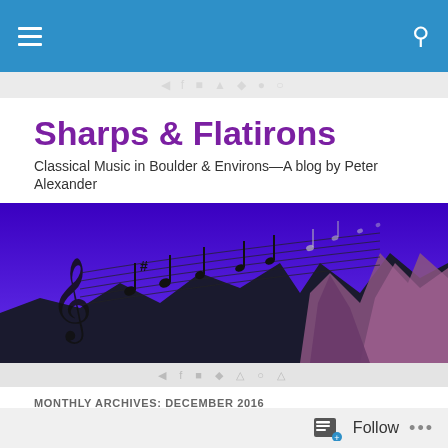Navigation bar with hamburger menu and search icon
Sharps & Flatirons
Classical Music in Boulder & Environs—A blog by Peter Alexander
[Figure (illustration): Banner image showing a treble clef and musical notes floating over a stylized purple/blue mountain landscape with rocky flatirons]
MONTHLY ARCHIVES: DECEMBER 2016
The Boulder Bach Festival presents a journey of
Follow